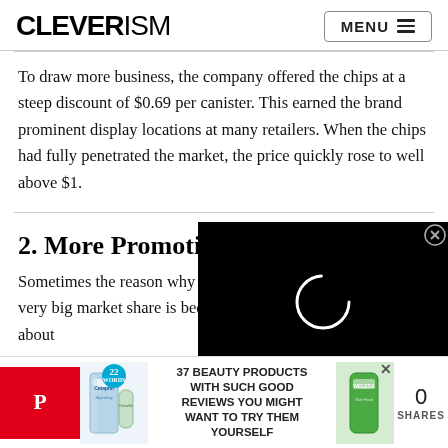CLEVERISM  MENU
To draw more business, the company offered the chips at a steep discount of $0.69 per canister. This earned the brand prominent display locations at many retailers. When the chips had fully penetrated the market, the price quickly rose to well above $1.
2. More Promotion
Sometimes the reason why a company doesn't have a very big market share is because people just don't know about it...
[Figure (screenshot): Video player overlay on black background with loading spinner circle and CLOSE button]
[Figure (infographic): Advertisement banner: Pinterest share button, Cetaphil product image, badge '22', text '37 BEAUTY PRODUCTS WITH SUCH GOOD REVIEWS YOU MIGHT WANT TO TRY THEM YOURSELF', Weleda product image, close X, 0 SHARES]